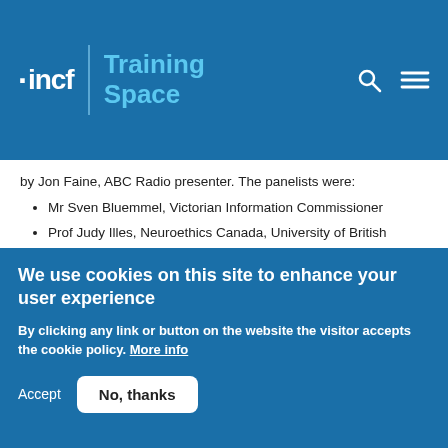incf | Training Space
by Jon Faine, ABC Radio presenter. The panelists were:
Mr Sven Bluemmel, Victorian Information Commissioner
Prof Judy Illes, Neuroethics Canada, University of British Columbia, Order of Canada
Prof Mark Andrejevic, Professor of Media Studies, Monash University
Ms Vrinda Edan, Chief Operating Officer, Victorian Mental Illness Awareness Council
We use cookies on this site to enhance your user experience
By clicking any link or button on the website the visitor accepts the cookie policy. More info